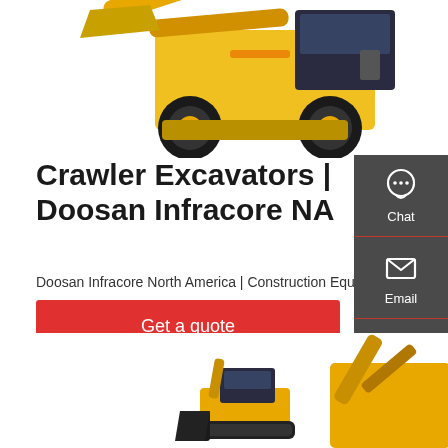[Figure (photo): Yellow wheel loader / construction equipment photographed on white background, top portion visible]
Crawler Excavators | Doosan Infracore NA
Doosan Infracore North America | Construction Equipment
Get a quote
[Figure (infographic): Dark grey sidebar with Chat, Email, and Contact buttons with icons]
[Figure (photo): Yellow excavator and black bucket attachment photos at bottom of page, partially cropped]